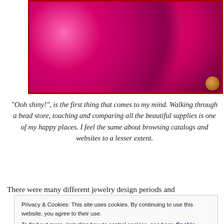[Figure (photo): Close-up photograph of pink/magenta shiny beads, clustered together with a gold clasp visible at bottom right. Dark background.]
"Ooh shiny!", is the first thing that comes to my mind. Walking through a bead store, touching and comparing all the beautiful supplies is one of my happy places. I feel the same about browsing catalogs and websites to a lesser extent.
There were many different jewelry design periods and
Privacy & Cookies: This site uses cookies. By continuing to use this website, you agree to their use.
To find out more, including how to control cookies, see here: Cookie Policy
Close and accept